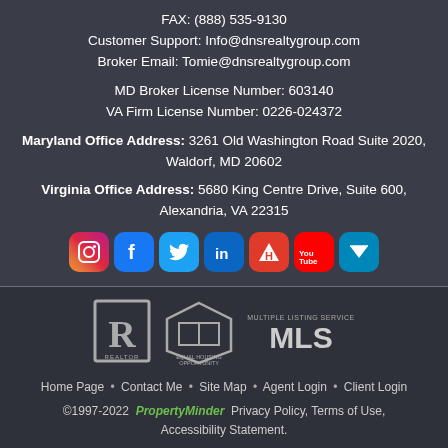FAX: (888) 535-9130
Customer Support: Info@dnsrealtygroup.com
Broker Email: Tomie@dnsrealtygroup.com
MD Broker License Number: 603140
VA Firm License Number: 0226-024372
Maryland Office Address: 3261 Old Washington Road Suite 2020, Waldorf, MD 20602
Virginia Office Address: 5680 King Centre Drive, Suite 600, Alexandria, VA 22315
[Figure (infographic): Row of social media icons: Instagram, Facebook, Twitter, LinkedIn, Realtor, YouTube, Zillow]
[Figure (logo): Three logos: REALTOR, Equal Housing Opportunity, Multiple Listing Service MLS]
Home Page • Contact Me • Site Map • Agent Login • Client Login
©1997-2022 PropertyMinder Privacy Policy, Terms of Use, Accessibility Statement.